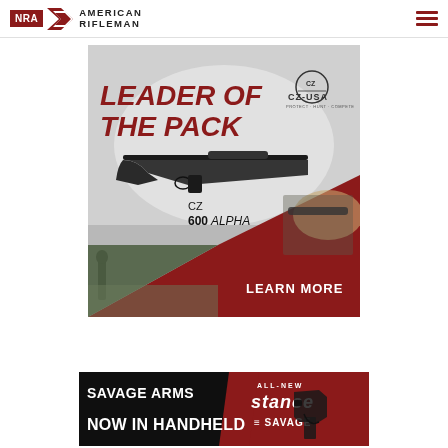NRA American Rifleman
[Figure (illustration): CZ-USA advertisement: LEADER OF THE PACK — CZ 600 ALPHA rifle. Large bold magenta/red text on gray background, CZ-USA logo top right, rifle image center, two outdoor hunting photos at bottom corners, red LEARN MORE button bottom right.]
[Figure (illustration): Savage Arms advertisement: SAVAGE ARMS NOW IN HANDHELD — ALL-NEW Stance handgun. Dark background with red section, Savage logo, handgun image on right side.]